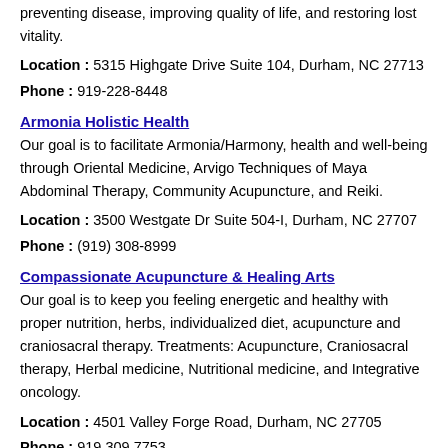preventing disease, improving quality of life, and restoring lost vitality.
Location : 5315 Highgate Drive Suite 104, Durham, NC 27713
Phone : 919-228-8448
Armonia Holistic Health
Our goal is to facilitate Armonia/Harmony, health and well-being through Oriental Medicine, Arvigo Techniques of Maya Abdominal Therapy, Community Acupuncture, and Reiki.
Location : 3500 Westgate Dr Suite 504-I, Durham, NC 27707
Phone : (919) 308-8999
Compassionate Acupuncture & Healing Arts
Our goal is to keep you feeling energetic and healthy with proper nutrition, herbs, individualized diet, acupuncture and craniosacral therapy. Treatments: Acupuncture, Craniosacral therapy, Herbal medicine, Nutritional medicine, and Integrative oncology.
Location : 4501 Valley Forge Road, Durham, NC 27705
Phone : 919.309.7753
Bull City Acupuncture